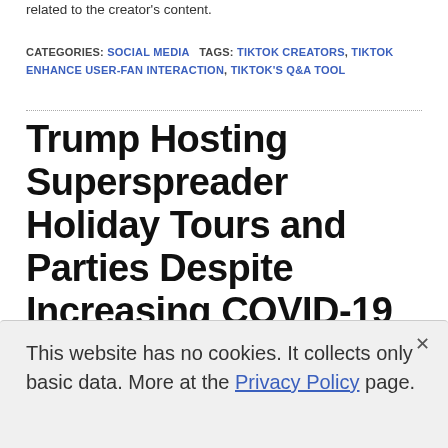related to the creator's content.
CATEGORIES: SOCIAL MEDIA   TAGS: TIKTOK CREATORS, TIKTOK ENHANCE USER-FAN INTERACTION, TIKTOK'S Q&A TOOL
Trump Hosting Superspreader Holiday Tours and Parties Despite Increasing COVID-19 Deaths
DECEMBER 6, 2020   RANDALL DONALDSON
This website has no cookies. It collects only basic data. More at the Privacy Policy page.